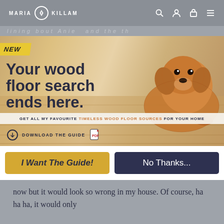MARIA KILLAM
[Figure (screenshot): Website banner advertisement for Maria Killam wood floor guide. Features a golden retriever puppy on a wood floor. Yellow 'NEW' ribbon in top left corner. Headline: 'Your wood floor search ends here.' Subtext: 'GET ALL MY FAVOURITE TIMELESS WOOD FLOOR SOURCES FOR YOUR HOME'. Button: 'DOWNLOAD THE GUIDE' with PDF icon.]
I Want The Guide!
No Thanks...
now but it would look so wrong in my house. Of course, ha ha ha, it would only